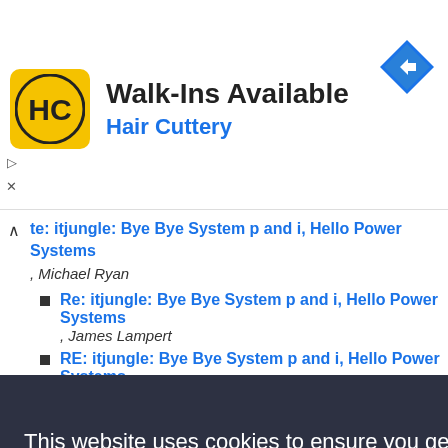[Figure (other): Hair Cuttery advertisement banner with HC logo, text 'Walk-Ins Available' and 'Hair Cuttery', navigation arrow icon]
Re: itjungle: Bye Bye System p and i, Hello Power Systems — Michael Ryan (collapsed)
Re: itjungle: Bye Bye System p and i, Hello Power Systems , James Lampert
RE: itjungle: Bye Bye System p and i, Hello Power Systems , Don
itjungle.com: The HP Pitch on Rehosting i5/OS Applications on
[Figure (screenshot): Cookie consent overlay: 'This website uses cookies to ensure you get the best experience on our website. Learn more' with 'Got it!' button]
more rebooting  Eric Lehti